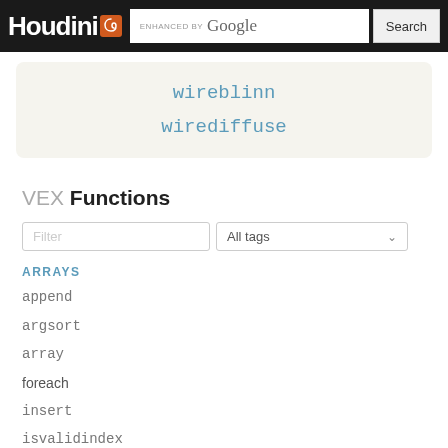Houdini | ENHANCED BY Google | Search
wireblinn
wirediffuse
VEX Functions
Filter | All tags
ARRAYS
append
argsort
array
foreach
insert
isvalidindex
len